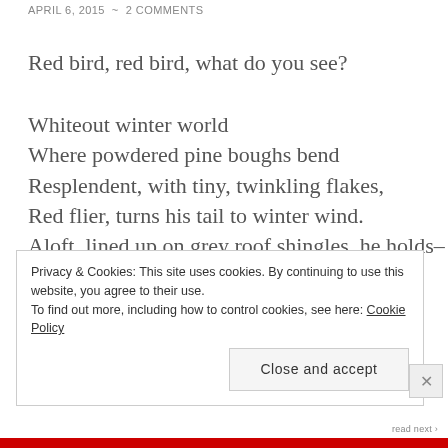APRIL 6, 2015  ~  2 COMMENTS
Red bird, red bird, what do you see?
Whiteout winter world
Where powdered pine boughs bend
Resplendent, with tiny, twinkling flakes,
Red flier, turns his tail to winter wind.
Aloft, lined up on grey roof shingles, he holds–
Aileron at ready.
Now “Clear”,
in sudden, shining, sunlit sparkles, his true
Privacy & Cookies: This site uses cookies. By continuing to use this website, you agree to their use.
To find out more, including how to control cookies, see here: Cookie Policy
Close and accept